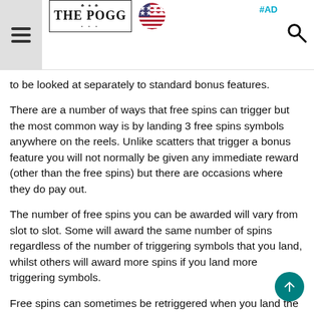THE POGG | #AD
to be looked at separately to standard bonus features.
There are a number of ways that free spins can trigger but the most common way is by landing 3 free spins symbols anywhere on the reels. Unlike scatters that trigger a bonus feature you will not normally be given any immediate reward (other than the free spins) but there are occasions where they do pay out.
The number of free spins you can be awarded will vary from slot to slot. Some will award the same number of spins regardless of the number of triggering symbols that you land, whilst others will award more spins if you land more triggering symbols.
Free spins can sometimes be retriggered when you land the correct number of free spins symbols during...